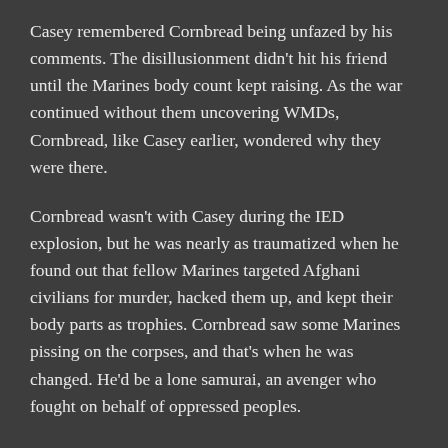Casey remembered Cornbread being unfazed by his comments. The disillusionment didn't hit his friend until the Marines body count kept raising. As the war continued without them uncovering WMDs, Cornbread, like Casey earlier, wondered why they were there.
Cornbread wasn't with Casey during the IED explosion, but he was nearly as traumatized when he found out that fellow Marines targeted Afghani civilians for murder, hacked them up, and kept their body parts as trophies. Cornbread saw some Marines pissing on the corpses, and that's when he was changed. He'd be a lone samurai, an avenger who fought on behalf of oppressed peoples.
That vision was a far cry from that of the Metropolitan Police Department. The Second District Station clock above his desk told Casey it was 00:30 hours. Ten minutes had passed since he dispatched the botched burglary call. He stood up to stretch. With his prosthetic legs, he was just under his original height of 5-foot-7.